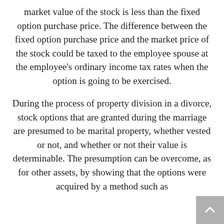market value of the stock is less than the fixed option purchase price. The difference between the fixed option purchase price and the market price of the stock could be taxed to the employee spouse at the employee's ordinary income tax rates when the option is going to be exercised.
During the process of property division in a divorce, stock options that are granted during the marriage are presumed to be marital property, whether vested or not, and whether or not their value is determinable. The presumption can be overcome, as for other assets, by showing that the options were acquired by a method such as